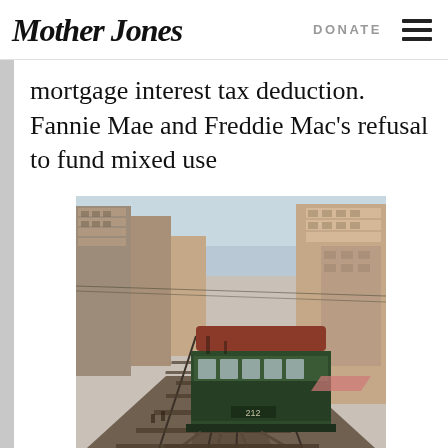Mother Jones | DONATE
mortgage interest tax deduction. Fannie Mae and Freddie Mac’s refusal to fund mixed use
[Figure (photo): Historic colorized photograph of an elevated railway/streetcar numbered 212 running down a city street lined with tall buildings on both sides, photographed from the elevated track level looking down the street.]